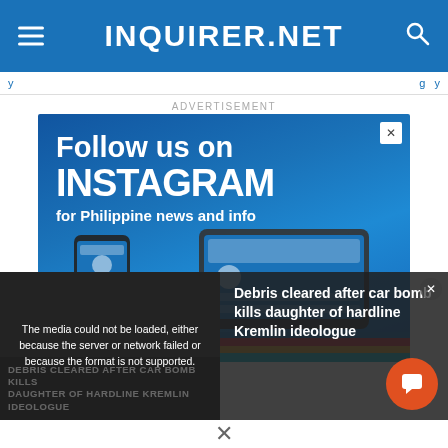INQUIRER.NET
ADVERTISEMENT
[Figure (infographic): Follow us on INSTAGRAM for Philippine news and info — advertisement banner with phone and tablet devices showing the INQ Instagram profile, rainbow gradient bar at bottom]
[Figure (screenshot): Video player with error: 'The media could not be loaded, either because the server or network failed or because the format is not supported.' Overlay on dark image with text 'DEBRIS CLEARED AFTER CAR BOMB KILLS DAUGHTER OF HARDLINE KREMLIN IDEOLOGUE']
Debris cleared after car bomb kills daughter of hardline Kremlin ideologue